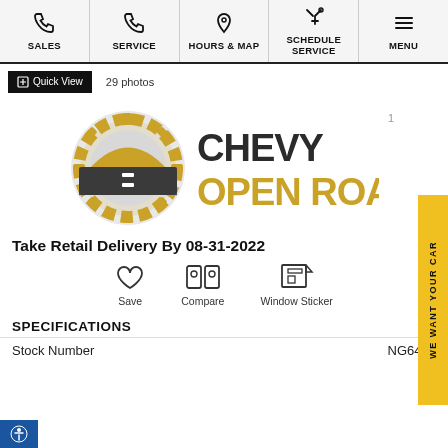SALES | SERVICE | HOURS & MAP | SCHEDULE SERVICE | MENU
Quick View   29 photos
[Figure (logo): Chevy Open Road logo — circular emblem with golden gear/sun and road, beside bold text CHEVY OPEN ROAD]
Take Retail Delivery By 08-31-2022
Save   Compare   Window Sticker
SPECIFICATIONS
Stock Number   NG6402